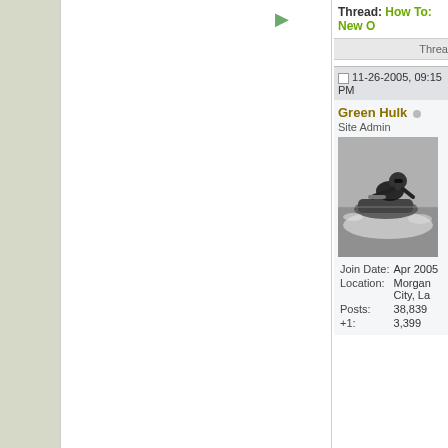Thread: How To: New O
Threa
11-26-2005, 09:15 PM
Green Hulk ○
Site Admin
[Figure (photo): Avatar photo of a person riding a jet ski at speed on water]
| Join Date: | Apr 2005 |
| Location: | Morgan City, La |
| Posts: | 38,839 |
| +1: | 3,399 |